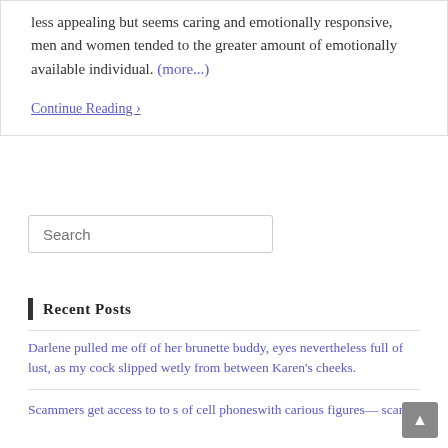less appealing but seems caring and emotionally responsive, men and women tended to the greater amount of emotionally available individual. (more...)
Continue Reading ›
Search
Recent Posts
Darlene pulled me off of her brunette buddy, eyes nevertheless full of lust, as my cock slipped wetly from between Karen's cheeks.
Scammers get access to to s of cell phoneswith carious figures— scams.